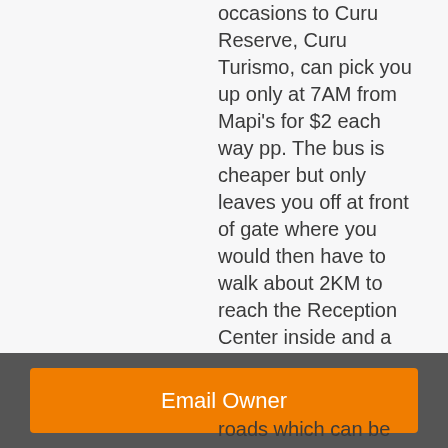occasions to Curu Reserve, Curu Turismo, can pick you up only at 7AM from Mapi's for $2 each way pp. The bus is cheaper but only leaves you off at front of gate where you would then have to walk about 2KM to reach the Reception Center inside and a Taxi will charge aprox $20 each way. To local beaches you would have to take Taxis because they're roads which can be
Email Owner